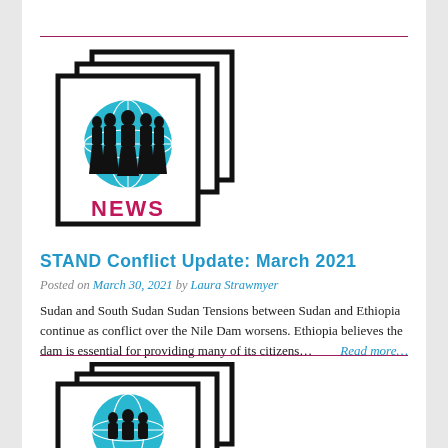[Figure (logo): STAND NEWS logo: stacked frames with globe and silhouettes, text NEWS in magenta]
STAND Conflict Update: March 2021
Posted on March 30, 2021 by Laura Strawmyer
Sudan and South Sudan Sudan Tensions between Sudan and Ethiopia continue as conflict over the Nile Dam worsens. Ethiopia believes the dam is essential for providing many of its citizens… Read more…
[Figure (logo): STAND NEWS logo (partial, bottom): stacked frames with globe and silhouettes]